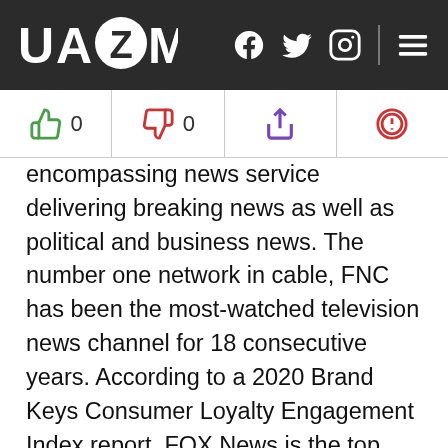UAZMI
0
0
encompassing news service delivering breaking news as well as political and business news. The number one network in cable, FNC has been the most-watched television news channel for 18 consecutive years. According to a 2020 Brand Keys Consumer Loyalty Engagement Index report, FOX News is the top brand in the country for morning and evening news coverage. A 2019 Suffolk University poll named FOX News as the most trusted source for television news or commentary, while a 2019 Brand Keys Emotion Engagement Analysis survey found that FOX News was the most trusted cable news brand. A 2017